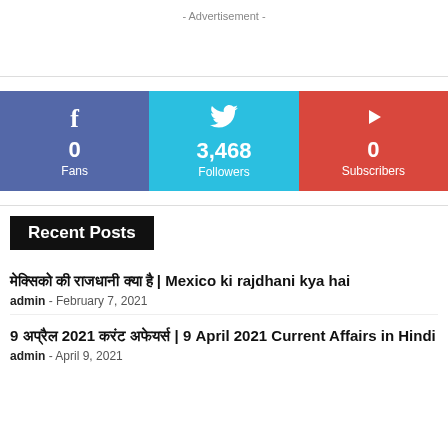- Advertisement -
[Figure (infographic): Social media stats bar: Facebook 0 Fans, Twitter 3,468 Followers, YouTube 0 Subscribers]
Recent Posts
मेक्सिको की राजधानी क्या है | Mexico ki rajdhani kya hai
admin  -  February 7, 2021
9 अप्रैल 2021 करंट अफेयर्स | 9 April 2021 Current Affairs in Hindi
admin  -  April 9, 2021